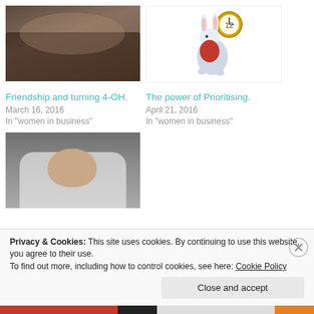[Figure (photo): Group photo of women seated around a table with candles and a birthday cake]
Friendship and turning 4-OH.
March 16, 2016
In "women in business"
[Figure (illustration): White Rabbit from Alice in Wonderland holding a pocket watch]
The power of Prioritising.
April 21, 2016
In "women in business"
[Figure (photo): Newborn baby wrapped in white cloth lying down]
Privacy & Cookies: This site uses cookies. By continuing to use this website, you agree to their use.
To find out more, including how to control cookies, see here: Cookie Policy
Close and accept